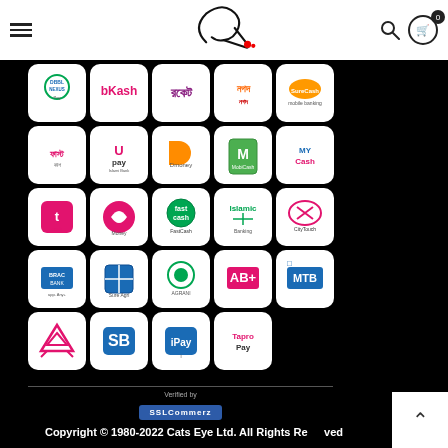Cats Eye navigation header with logo, hamburger menu, search, and cart
[Figure (infographic): Grid of payment method logos: DBBL Nexus, bKash, Rocket, Nagad, Surecash, FasikPay, Upay, Dmoney, MobiCash M, MyCash, t-cash, Airtel Money, FastCash, Islamic Banking, CityTouch, BRAC Bank, Sure Agri, AGRANI, AB+, MTB, A logo, SB, iPay, Tapro Pay]
Verified by SSLCommerz
Copyright © 1980-2022 Cats Eye Ltd. All Rights Reserved